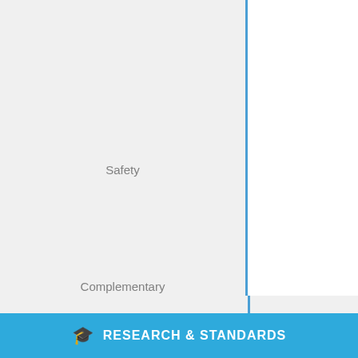verification program.
Safety
No harmful reagents are required for the use of this product.
Complementary technical systems
None
RESEARCH & STANDARDS